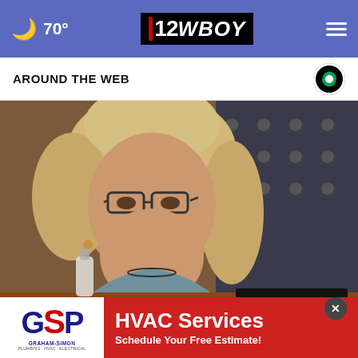12WBOY | 70°
AROUND THE WEB
[Figure (photo): Woman with blonde hair and glasses sitting at congressional hearing desk, with an American flag in the background. A nameplate reading 'MR. RASKIN' is visible.]
Cheney slams GOP leadership for enabling white nati...
[Figure (other): Advertisement banner for Graham-Simon HVAC Services with text 'HVAC Services - Schedule Your Free Estimate!']